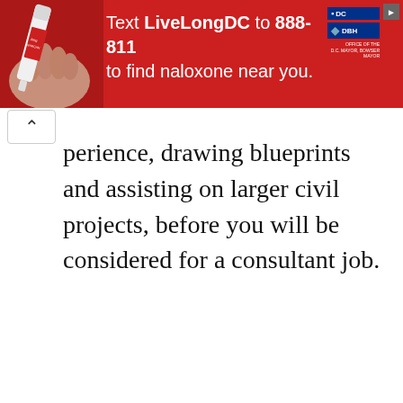[Figure (infographic): Red advertisement banner: 'Text LiveLongDC to 888-811 to find naloxone near you.' with DC government logos and a photo of a naloxone pen/syringe being held by a hand.]
perience, drawing blueprints and assisting on larger civil projects, before you will be considered for a consultant job.